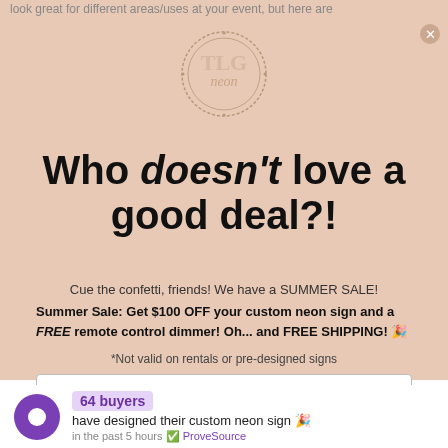look great for different areas/uses at your event, but here are
[Figure (logo): TLG Neon circular logo with decorative script text 'neon' inside a circle]
Who doesn't love a good deal?!
Cue the confetti, friends! We have a SUMMER SALE!
Summer Sale: Get $100 OFF your custom neon sign and a FREE remote control dimmer! Oh... and FREE SHIPPING! 🎉
*Not valid on rentals or pre-designed signs
Email address
64 buyers have designed their custom neon sign 🎉 in the past 5 hours ✅ ProveSource